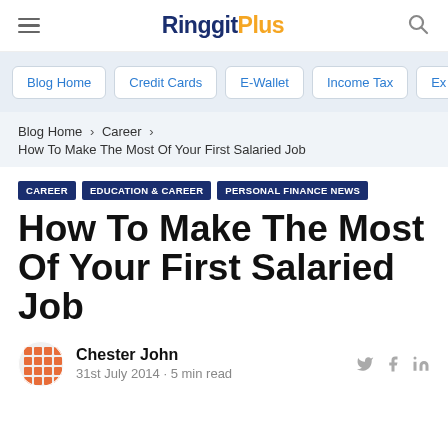RinggitPlus
Blog Home  >  Credit Cards  >  E-Wallet  >  Income Tax  >  Ex
Blog Home > Career > How To Make The Most Of Your First Salaried Job
CAREER  EDUCATION & CAREER  PERSONAL FINANCE NEWS
How To Make The Most Of Your First Salaried Job
Chester John
31st July 2014 · 5 min read